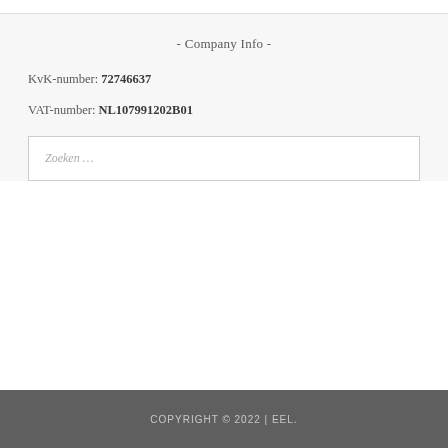- Company Info -
KvK-number: 72746637
VAT-number: NL107991202B01
Zoeken …
COPYRIGHT © 2022 | EEL.